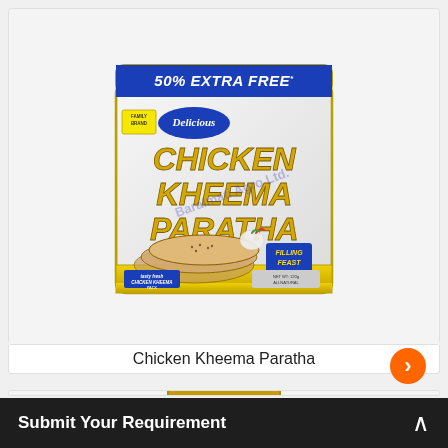[Figure (photo): Product packaging image of Delicious brand Chicken Kheema Paratha with '50% EXTRA FREE' banner in blue at top, gold/yellow text showing product name, and paratha flatbreads visible. Watermark reads 'Baralmati Agro Ltd.']
Chicken Kheema Paratha
[Figure (photo): Partial view of another product package, partially cropped at bottom of page]
Submit Your Requirement